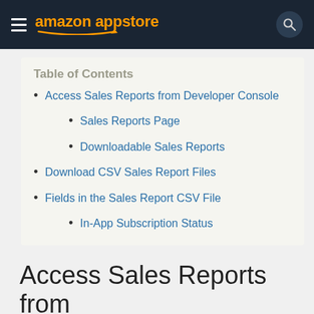amazon appstore
Table of Contents
Access Sales Reports from Developer Console
Sales Reports Page
Downloadable Sales Reports
Download CSV Sales Report Files
Fields in the Sales Report CSV File
In-App Subscription Status
Access Sales Reports from Developer Console